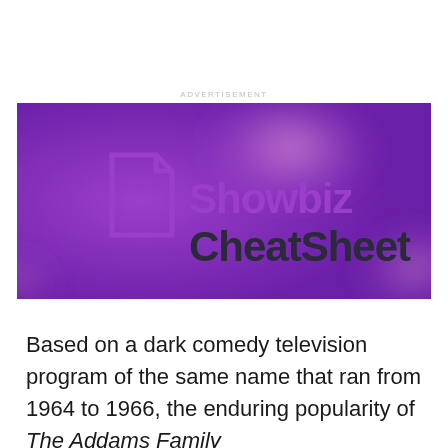ADVERTISEMENT
[Figure (logo): Showbiz CheatSheet logo on a purple and pink blurred background. The logo shows a document/page icon in purple outline on the left, with 'Showbiz' in bold purple text and 'CheatSheet' in bold dark gray text on the right.]
Based on a dark comedy television program of the same name that ran from 1964 to 1966, the enduring popularity of The Addams Family